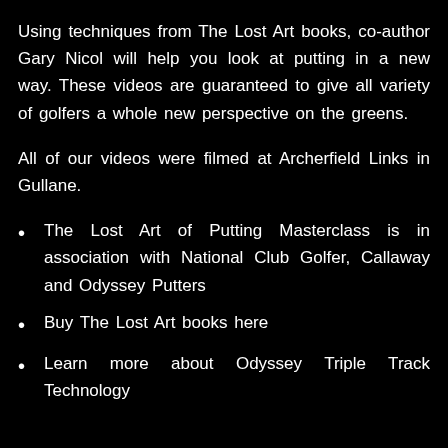Using techniques from The Lost Art books, co-author Gary Nicol will help you look at putting in a new way. These videos are guaranteed to give all variety of golfers a whole new perspective on the greens.
All of our videos were filmed at Archerfield Links in Gullane.
The Lost Art of Putting Masterclass is in association with National Club Golfer, Callaway and Odyssey Putters
Buy The Lost Art books here
Learn more about Odyssey Triple Track Technology